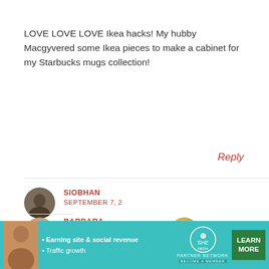LOVE LOVE LOVE Ikea hacks! My hubby Macgyvered some Ikea pieces to make a cabinet for my Starbucks mugs collection!
Reply
SIOBHAN
SEPTEMBER 7, 2...
That sounds amazing
[Figure (screenshot): Video player overlay showing black video area with play button, progress bar at ~55%, time 13:52, and controls including mute, CC, grid, settings, and fullscreen icons]
BARBARA
SEPTEMBER 7, 2020 AT 7:57 PM
[Figure (infographic): Advertisement banner for SHE Partner Network with teal background, person photo, bullet points 'Earning site & social revenue', 'Traffic growth', SHE logo, and green LEARN MORE button]